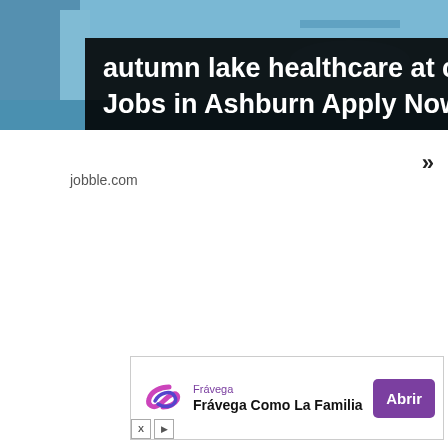[Figure (screenshot): Advertisement banner showing dental office background with overlay text: autumn lake healthcare at crofton General Dentist Jobs in Ashburn Apply Now]
»
jobble.com
[Figure (screenshot): Bottom advertisement banner for Frávega with purple logo, text 'Frávega Como La Familia' and purple 'Abrir' button]